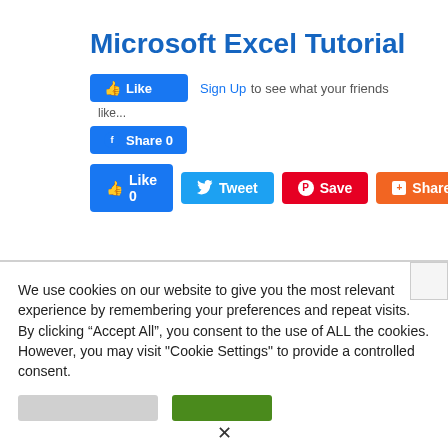Microsoft Excel Tutorial
[Figure (screenshot): Social media sharing buttons: Facebook Like, Facebook Share (0), Like 0, Tweet, Save (Pinterest), Share (Flipboard)]
We use cookies on our website to give you the most relevant experience by remembering your preferences and repeat visits. By clicking “Accept All”, you consent to the use of ALL the cookies. However, you may visit "Cookie Settings" to provide a controlled consent.
[Figure (screenshot): Two buttons: Cookie Settings (gray) and Accept All (green)]